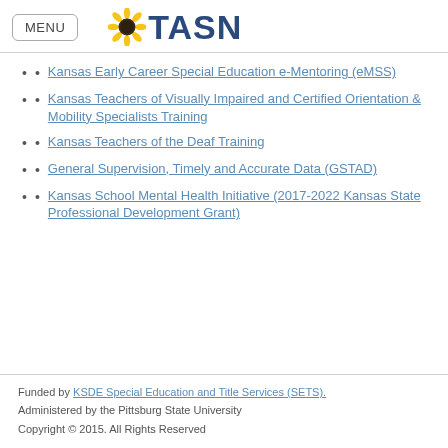MENU | TASN
Kansas Early Career Special Education e-Mentoring (eMSS)
Kansas Teachers of Visually Impaired and Certified Orientation & Mobility Specialists Training
Kansas Teachers of the Deaf Training
General Supervision, Timely and Accurate Data (GSTAD)
Kansas School Mental Health Initiative (2017-2022 Kansas State Professional Development Grant)
Funded by KSDE Special Education and Title Services (SETS). Administered by the Pittsburg State University Copyright © 2015. All Rights Reserved